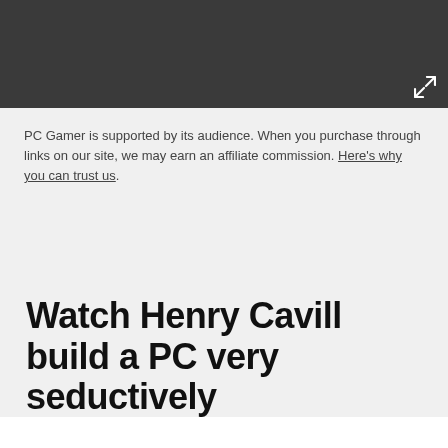[Figure (other): Dark gray header banner area with expand/fullscreen icon in the bottom-right corner]
PC Gamer is supported by its audience. When you purchase through links on our site, we may earn an affiliate commission. Here's why you can trust us.
Watch Henry Cavill build a PC very seductively